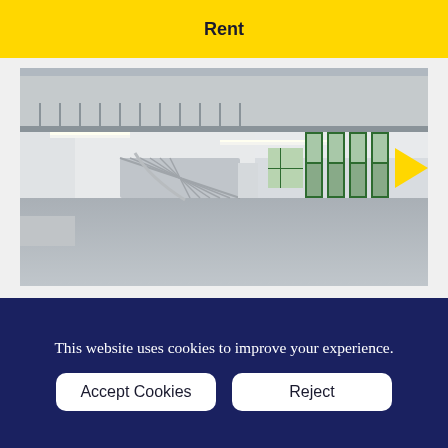Rent
[Figure (photo): Interior of a modern commercial/office space showing open plan floor with mezzanine level, metal staircase, white columns, fluorescent strip lighting, and green-framed windows with a yellow and green logo/branding element on the right wall.]
This website uses cookies to improve your experience.
Accept Cookies
Reject